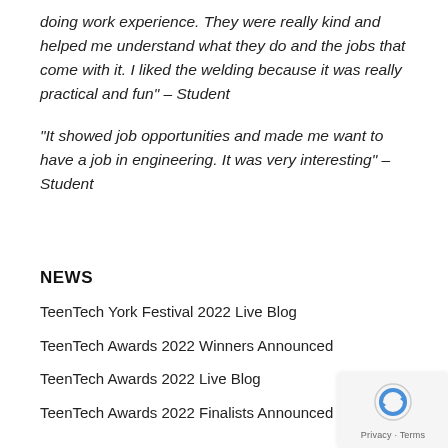doing work experience. They were really kind and helped me understand what they do and the jobs that come with it. I liked the welding because it was really practical and fun" – Student
"It showed job opportunities and made me want to have a job in engineering. It was very interesting" – Student
NEWS
TeenTech York Festival 2022 Live Blog
TeenTech Awards 2022 Winners Announced
TeenTech Awards 2022 Live Blog
TeenTech Awards 2022 Finalists Announced